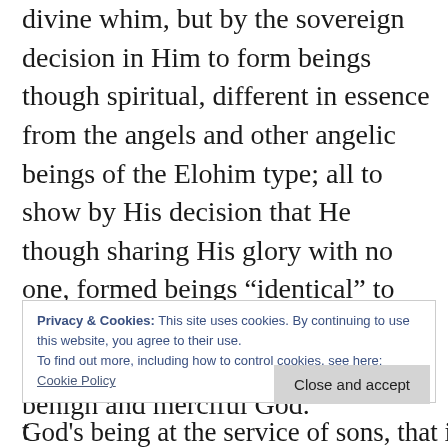divine whim, but by the sovereign decision in Him to form beings though spiritual, different in essence from the angels and other angelic beings of the Elohim type; all to show by His decision that He though sharing His glory with no one, formed beings “identical” to Him in character by whom the other formed beings can identify in Him a benign and merciful God.
Privacy & Cookies: This site uses cookies. By continuing to use this website, you agree to their use. To find out more, including how to control cookies, see here: Cookie Policy
Close and accept
God's being at the service of sons, that is, of h